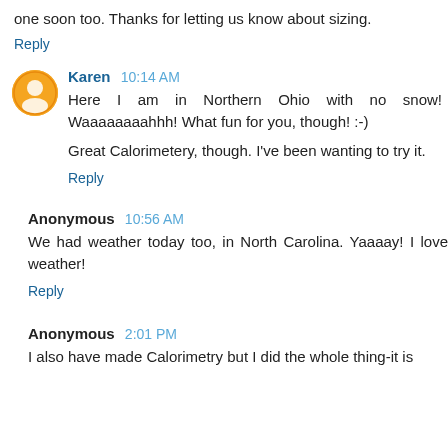one soon too. Thanks for letting us know about sizing.
Reply
Karen 10:14 AM
Here I am in Northern Ohio with no snow! Waaaaaaaahhh! What fun for you, though! :-)
Great Calorimetery, though. I've been wanting to try it.
Reply
Anonymous 10:56 AM
We had weather today too, in North Carolina. Yaaaay! I love weather!
Reply
Anonymous 2:01 PM
I also have made Calorimetry but I did the whole thing-it is